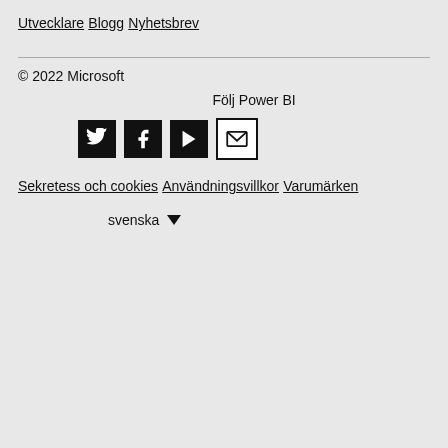Utvecklare
Blogg
Nyhetsbrev
© 2022 Microsoft
Följ Power BI
[Figure (infographic): Four social media icons: Twitter (bird), Facebook (f), YouTube (play button), Email (envelope), all in black square/outline boxes]
Sekretess och cookies
Användningsvillkor
Varumärken
svenska ▼